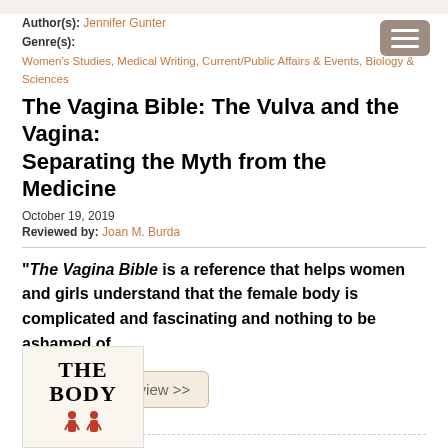Author(s): Jennifer Gunter
Genre(s):
Women's Studies, Medical Writing, Current/Public Affairs & Events, Biology & Sciences
The Vagina Bible: The Vulva and the Vagina: Separating the Myth from the Medicine
October 19, 2019
Reviewed by: Joan M. Burda
"The Vagina Bible is a reference that helps women and girls understand that the female body is complicated and fascinating and nothing to be ashamed of.
Read Book Review >>
[Figure (illustration): Book cover showing 'THE BODY' text with two small human figures at the bottom, partial book cover visible]